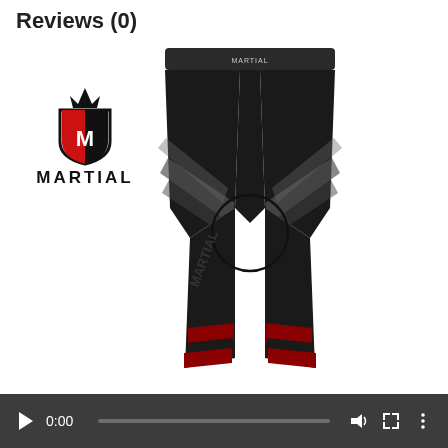Reviews (0)
[Figure (photo): Product photo of black compression tights/leggings with grey diagonal stripe pattern on mid-section and red/black diagonal stripes at ankles, shown front view. Martial brand logo with crown and shield emblem visible in upper left. A circle annotation is overlaid on the crotch area of the pants.]
[Figure (screenshot): Video player control bar showing play button, timecode 0:00, progress bar, volume icon, fullscreen icon, and options menu icon on dark background.]